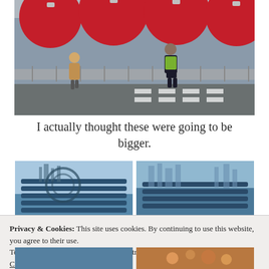[Figure (photo): Street scene with large red Christmas ornament balls in background, a security officer in yellow vest and black uniform standing near metal barriers, and a woman in beige coat walking past. New York City holiday decorations.]
I actually thought these were going to be bigger.
[Figure (photo): Two side-by-side photos of blue park benches or chairs with a city skyline visible in the background, taken in winter light.]
Privacy & Cookies: This site uses cookies. By continuing to use this website, you agree to their use.
To find out more, including how to control cookies, see here: Cookie Policy
Close and accept
[Figure (photo): Two partial photos at the bottom of the page, partially cut off.]